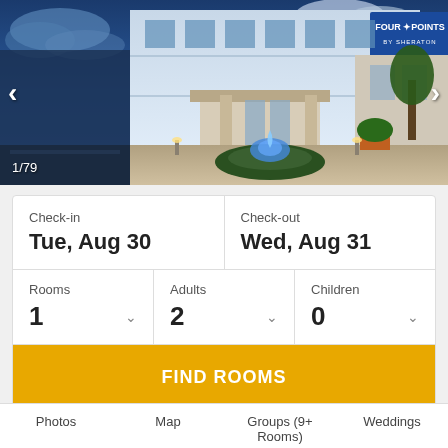[Figure (photo): Four Points by Sheraton hotel exterior at dusk/night, showing illuminated building facade with blue fountain in foreground, navigation arrows on left and right sides, image counter '1/79' at bottom left]
| Check-in | Check-out |
| Tue, Aug 30 | Wed, Aug 31 |
| Rooms 1 | Adults 2 | Children 0 |
FIND ROOMS
Photos   Map   Groups (9+ Rooms)   Weddings